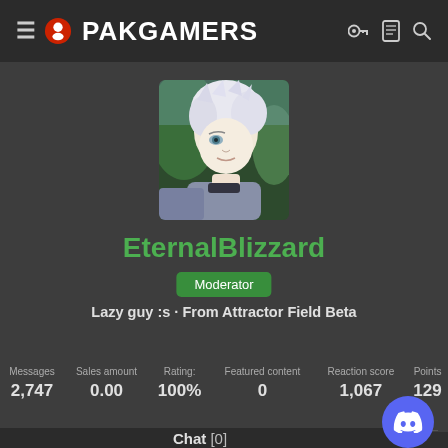PAKGAMERS
[Figure (photo): Anime character profile avatar with white/silver hair, side profile view, wearing gray outfit, green foliage background]
EternalBlizzard
Moderator
Lazy guy :s · From Attractor Field Beta
| Messages | Sales amount | Rating: | Featured content | Reaction score | Points |
| --- | --- | --- | --- | --- | --- |
| 2,747 | 0.00 | 100% | 0 | 1,067 | 129 |
Major Aly: Today at 2:37 PM
Chat [0]